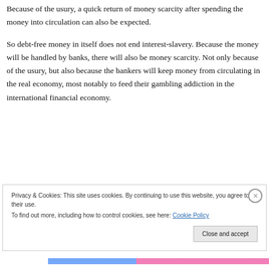Because of the usury, a quick return of money scarcity after spending the money into circulation can also be expected.
So debt-free money in itself does not end interest-slavery. Because the money will be handled by banks, there will also be money scarcity. Not only because of the usury, but also because the bankers will keep money from circulating in the real economy, most notably to feed their gambling addiction in the international financial economy.
Privacy & Cookies: This site uses cookies. By continuing to use this website, you agree to their use.
To find out more, including how to control cookies, see here: Cookie Policy